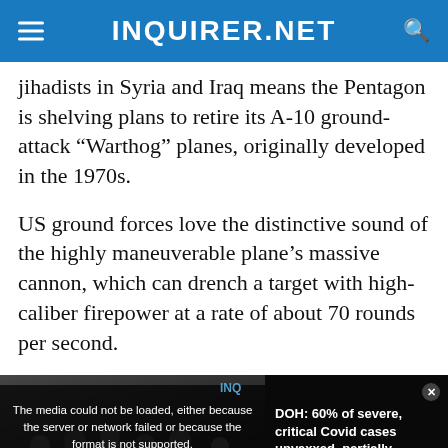INQUIRER.NET
jihadists in Syria and Iraq means the Pentagon is shelving plans to retire its A-10 ground-attack “Warthog” planes, originally developed in the 1970s.
US ground forces love the distinctive sound of the highly maneuverable plane’s massive cannon, which can drench a target with high-caliber firepower at a rate of about 70 rounds per second.
[Figure (screenshot): Embedded video player overlay showing a media error message and a related article thumbnail. The error reads: 'The media could not be loaded, either because the server or network failed or because the format is not supported.' On the left is a dark video thumbnail with text overlay: 'DOH: 60% OF SEVERE, CRITICAL COVID CASES UNVAXXED, PARTIALLY VAXXED INDIVIDUALS'. On the right panel: 'DOH: 60% of severe, critical Covid cases unvaxxed, partially vaxxed individuals'. An X close button appears at the bottom center.]